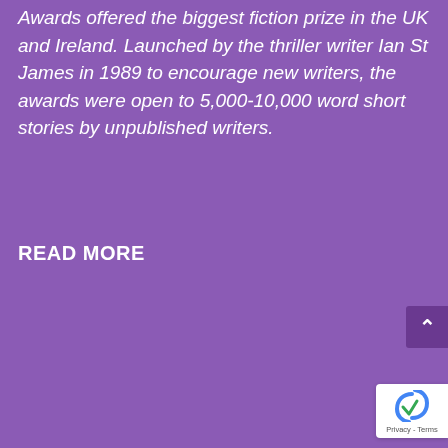Awards offered the biggest fiction prize in the UK and Ireland. Launched by the thriller writer Ian St James in 1989 to encourage new writers, the awards were open to 5,000-10,000 word short stories by unpublished writers.
READ MORE
[Figure (screenshot): Embedded Acast podcast player card for 'Tall And True Shor...' episode titled 'Thanks Ian St James Awards'. Shows podcast logo, play button, date August 8, 2022, duration 6 min, and Listen later / View terms options.]